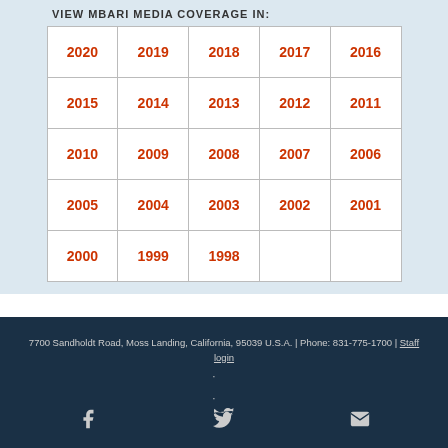VIEW MBARI MEDIA COVERAGE IN:
| 2020 | 2019 | 2018 | 2017 | 2016 |
| 2015 | 2014 | 2013 | 2012 | 2011 |
| 2010 | 2009 | 2008 | 2007 | 2006 |
| 2005 | 2004 | 2003 | 2002 | 2001 |
| 2000 | 1999 | 1998 |  |  |
7700 Sandholdt Road, Moss Landing, California, 95039 U.S.A. | Phone: 831-775-1700 | Staff login